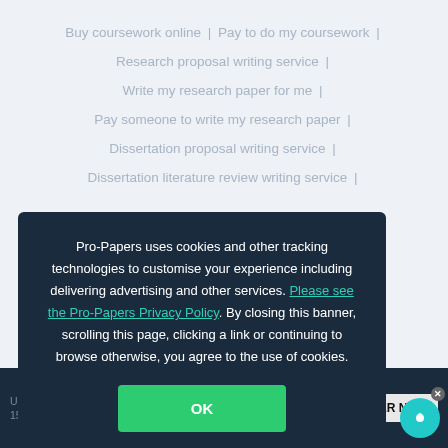Buy coursework online | Pay to do my coursework | Research proposal writing service | Write my research paper for me | Pay someone to write my research paper | Dissertation proposal writing service | Dissertation literature review writing service | ...dissertation online | ...writing service | ...ay for essay | ...tative essay writer | ...ative essay | ...erm paper | ...ay writing service | ...
Pro-Papers uses cookies and other tracking technologies to customise your experience including delivering advertising and other services. Please see the Pro-Papers Privacy Policy. By closing this banner, scrolling this page, clicking a link or continuing to browse otherwise, you agree to the use of cookies.
OK
& save 15% on